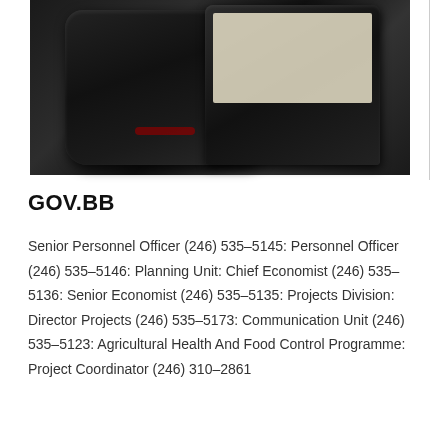[Figure (photo): Two black electronic devices (appears to be phones/tablets) photographed against a dark background, shown in the upper portion of the page]
GOV.BB
Senior Personnel Officer (246) 535-5145: Personnel Officer (246) 535-5146: Planning Unit: Chief Economist (246) 535-5136: Senior Economist (246) 535-5135: Projects Division: Director Projects (246) 535-5173: Communication Unit (246) 535-5123: Agricultural Health And Food Control Programme: Project Coordinator (246) 310-2861